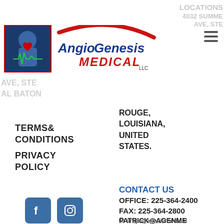[Figure (logo): AnioGenesis Medical LLC logo with human torso graphic and red swoosh]
TERMS& CONDITIONS
PRIVACY POLICY
[Figure (illustration): Facebook and Instagram social media icons]
ROUGE, LOUISIANA, UNITED STATES.
CONTACT US
OFFICE: 225-364-2400
FAX: 225-364-2800
PATRICK@AGENME
© angiogenesismedical